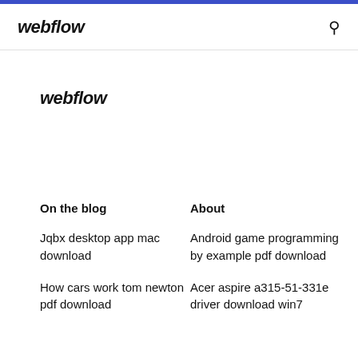webflow
webflow
On the blog
About
Jqbx desktop app mac download
How cars work tom newton pdf download
Android game programming by example pdf download
Acer aspire a315-51-331e driver download win7